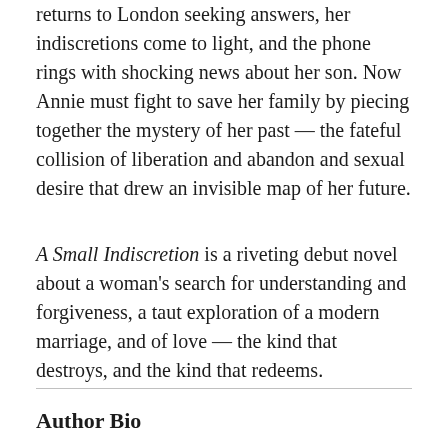returns to London seeking answers, her indiscretions come to light, and the phone rings with shocking news about her son. Now Annie must fight to save her family by piecing together the mystery of her past — the fateful collision of liberation and abandon and sexual desire that drew an invisible map of her future.
A Small Indiscretion is a riveting debut novel about a woman's search for understanding and forgiveness, a taut exploration of a modern marriage, and of love — the kind that destroys, and the kind that redeems.
Author Bio